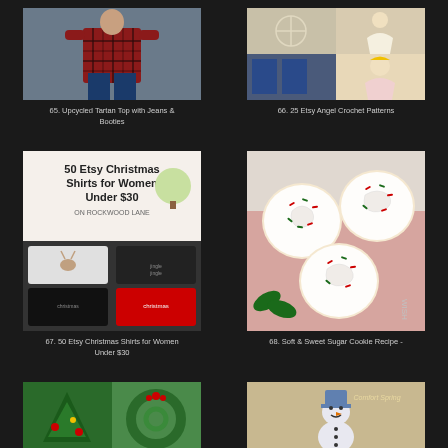[Figure (photo): Person wearing red plaid/tartan top with jeans]
65. Upcycled Tartan Top with Jeans & Booties
[Figure (photo): Collage of angel crochet patterns from Etsy]
66. 25 Etsy Angel Crochet Patterns
[Figure (photo): Collage of 50 Etsy Christmas shirts for women under $30]
67. 50 Etsy Christmas Shirts for Women Under $30
[Figure (photo): Soft and sweet sugar cookies with white frosting and sprinkles]
68. Soft & Sweet Sugar Cookie Recipe -
[Figure (photo): Christmas tree shaped rice krispie treats or cakes]
[Figure (photo): Snowman ornament with Comfort Spring text]